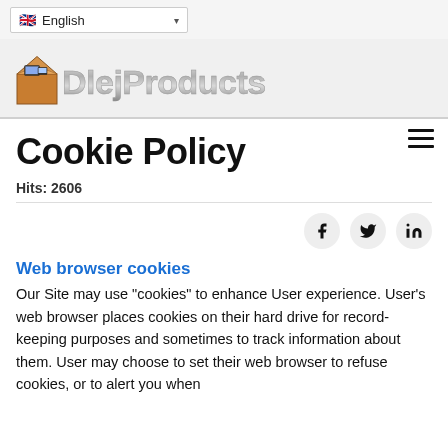English (language selector)
[Figure (logo): DlejProducts logo with cardboard box icon and metallic stylized text]
Cookie Policy
Hits: 2606
[Figure (infographic): Social share buttons: Facebook, Twitter, LinkedIn]
Web browser cookies
Our Site may use "cookies" to enhance User experience. User's web browser places cookies on their hard drive for record-keeping purposes and sometimes to track information about them. User may choose to set their web browser to refuse cookies, or to alert you when